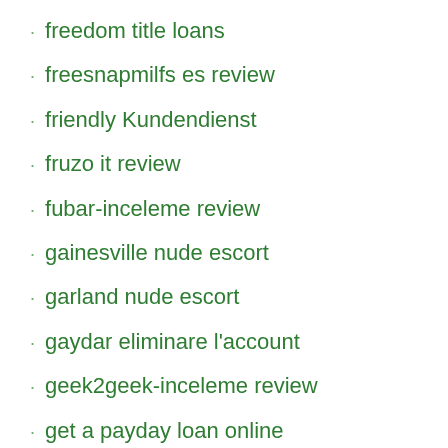freedom title loans
freesnapmilfs es review
friendly Kundendienst
fruzo it review
fubar-inceleme review
gainesville nude escort
garland nude escort
gaydar eliminare l'account
geek2geek-inceleme review
get a payday loan online
getiton review